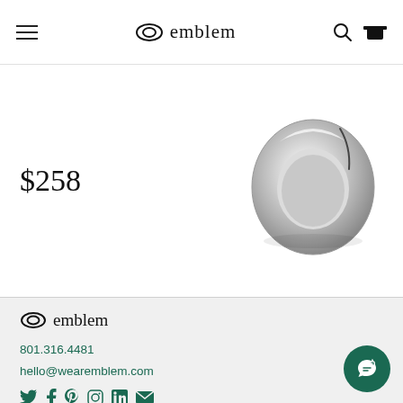emblem
$258
[Figure (photo): Silver wedding band ring, polished, dome-shaped, viewed at an angle]
[Figure (logo): Emblem logo with stylized double-oval icon and text 'emblem']
801.316.4481
hello@wearemblem.com
[Figure (infographic): Social media icons: Twitter, Facebook, Pinterest, Instagram, LinkedIn, Email]
Info
About
Contact Us